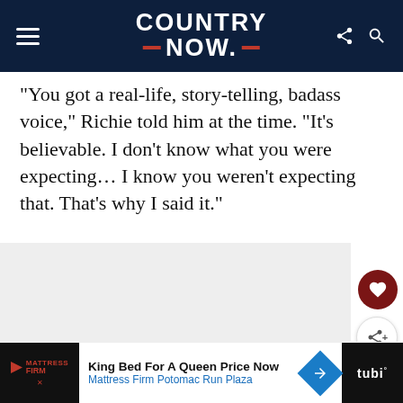COUNTRY NOW
“You got a real-life, story-telling, badass voice,” Richie told him at the time. “It’s believable. I don’t know what you were expecting… I know you weren’t expecting that. That’s why I said it.”
[Figure (other): Gray advertisement placeholder box]
[Figure (other): Advertisement bar: Mattress Firm - King Bed For A Queen Price Now, Mattress Firm Potomac Run Plaza]